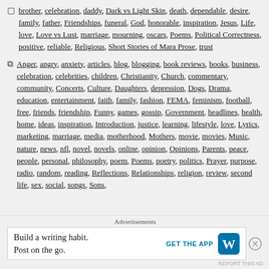brother, celebration, daddy, Dark vs Light Skin, death, dependable, desire, family, father, Friendships, funeral, God, honorable, inspiration, Jesus, Life, love, Love vs Lust, marriage, mourning, oscars, Poems, Political Correctness, positive, reliable, Religious, Short Stories of Mara Prose, trust
Anger, angry, anxiety, articles, blog, blogging, book reviews, books, business, celebration, celebrities, children, Christianity, Church, commentary, community, Concerts, Culture, Daughters, depression, Dogs, Drama, education, entertainment, faith, family, fashion, FEMA, feminism, football, free, friends, friendship, Funny, games, gossip, Government, headlines, health, home, ideas, inspiration, Introduction, justice, learning, lifestyle, love, Lyrics, marketing, marriage, media, motherhood, Mothers, movie, movies, Music, nature, news, nfl, novel, novels, online, opinion, Opinions, Parents, peace, people, personal, philosophy, poem, Poems, poetry, politics, Prayer, purpose, radio, random, reading, Reflections, Relationships, religion, review, second life, sex, social, songs, Sons,
[Figure (other): Advertisement banner: 'Build a writing habit. Post on the go.' with GET THE APP button and WordPress logo]